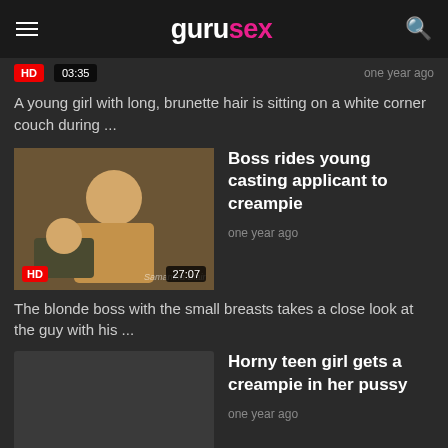gurusex
one year ago
HD  03:35
A young girl with long, brunette hair is sitting on a white corner couch during ...
[Figure (photo): Video thumbnail showing two people]
Boss rides young casting applicant to creampie
one year ago
HD  27:07
The blonde boss with the small breasts takes a close look at the guy with his ...
Horny teen girl gets a creampie in her pussy
one year ago
HD  23:23
The hot young woman loves to be banged by thick boners. But even with blowjobs